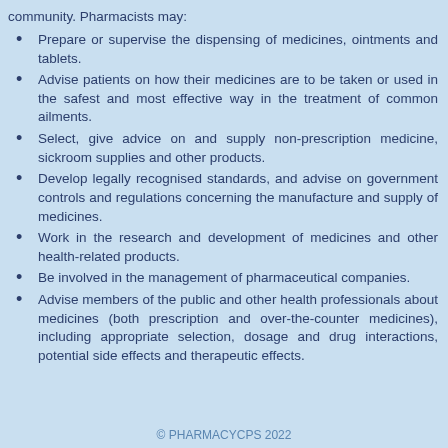community. Pharmacists may:
Prepare or supervise the dispensing of medicines, ointments and tablets.
Advise patients on how their medicines are to be taken or used in the safest and most effective way in the treatment of common ailments.
Select, give advice on and supply non-prescription medicine, sickroom supplies and other products.
Develop legally recognised standards, and advise on government controls and regulations concerning the manufacture and supply of medicines.
Work in the research and development of medicines and other health-related products.
Be involved in the management of pharmaceutical companies.
Advise members of the public and other health professionals about medicines (both prescription and over-the-counter medicines), including appropriate selection, dosage and drug interactions, potential side effects and therapeutic effects.
© PHARMACYCPS 2022